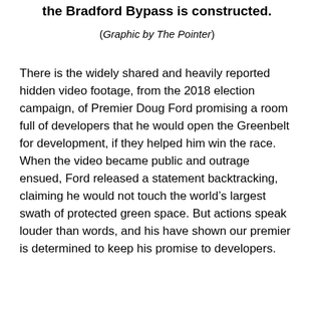the Bradford Bypass is constructed.
(Graphic by The Pointer)
There is the widely shared and heavily reported hidden video footage, from the 2018 election campaign, of Premier Doug Ford promising a room full of developers that he would open the Greenbelt for development, if they helped him win the race. When the video became public and outrage ensued, Ford released a statement backtracking, claiming he would not touch the world’s largest swath of protected green space. But actions speak louder than words, and his have shown our premier is determined to keep his promise to developers.